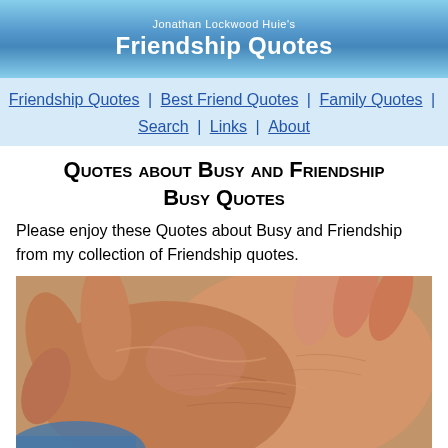Jonathan Lockwood Huie's Friendship Quotes
Friendship Quotes | Best Friend Quotes | Family Quotes | Search | Links | About
Quotes about Busy and Friendship Busy Quotes
Please enjoy these Quotes about Busy and Friendship from my collection of Friendship quotes.
[Figure (photo): Close-up photograph of two elderly people holding hands, showing wrinkled skin and intertwined fingers against a blurred background.]